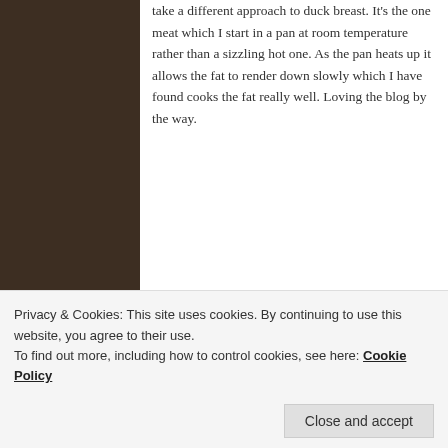take a different approach to duck breast. It's the one meat which I start in a pan at room temperature rather than a sizzling hot one. As the pan heats up it allows the fat to render down slowly which I have found cooks the fat really well. Loving the blog by the way.
Reply ↓
Phil @foodfrankly on March 11, 2013 at 12:03 am said:
Hi Nick, thanks very much, glad you like it!
Privacy & Cookies: This site uses cookies. By continuing to use this website, you agree to their use.
To find out more, including how to control cookies, see here: Cookie Policy
Close and accept